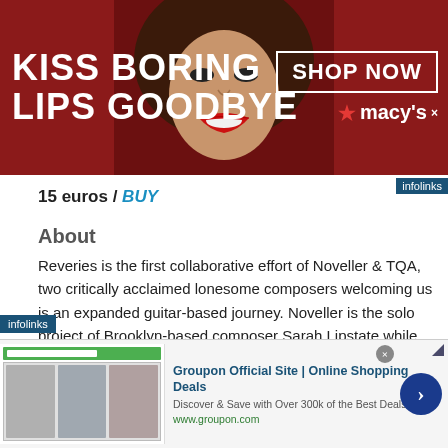[Figure (photo): Macy's advertisement banner: 'KISS BORING LIPS GOODBYE' with a woman's face in the center, red lipstick, and SHOP NOW button and Macy's logo on the right. Dark red background.]
15 euros / BUY
About
Reveries is the first collaborative effort of Noveller & TQA, two critically acclaimed lonesome composers welcoming us is an expanded guitar-based journey. Noveller is the solo project of Brooklyn-based composer Sarah Lipstate while Thisquietarly is Eric Quach, unstoppable globetrotting musician from Montreal. Both use the guitar as their main instrument, some of the most impressive, hypnotic and rich-
[Figure (screenshot): Groupon advertisement: 'Groupon Official Site | Online Shopping Deals - Discover & Save with Over 300k of the Best Deals - www.groupon.com' with thumbnail images and arrow button.]